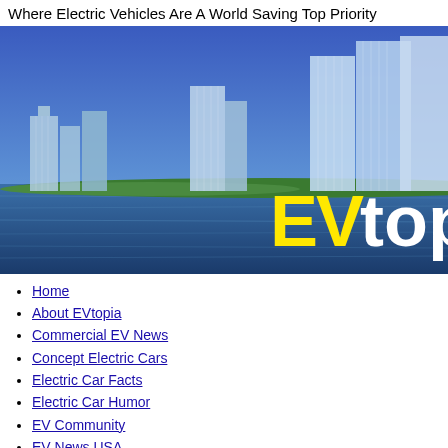Where Electric Vehicles Are A World Saving Top Priority
[Figure (illustration): Banner image of a futuristic city skyline with tall glass skyscrapers along a waterfront. The water is blue and reflects the buildings. Overlaid on the lower right is a logo reading 'EVtop' with 'EV' in bold yellow and 'top' in white large text.]
Home
About EVtopia
Commercial EV News
Concept Electric Cars
Electric Car Facts
Electric Car Humor
EV Community
EV News USA